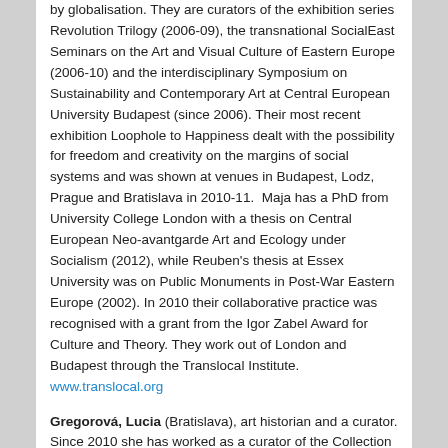by globalisation. They are curators of the exhibition series Revolution Trilogy (2006-09), the transnational SocialEast Seminars on the Art and Visual Culture of Eastern Europe (2006-10) and the interdisciplinary Symposium on Sustainability and Contemporary Art at Central European University Budapest (since 2006). Their most recent exhibition Loophole to Happiness dealt with the possibility for freedom and creativity on the margins of social systems and was shown at venues in Budapest, Lodz, Prague and Bratislava in 2010-11.  Maja has a PhD from University College London with a thesis on Central European Neo-avantgarde Art and Ecology under Socialism (2012), while Reuben's thesis at Essex University was on Public Monuments in Post-War Eastern Europe (2002). In 2010 their collaborative practice was recognised with a grant from the Igor Zabel Award for Culture and Theory. They work out of London and Budapest through the Translocal Institute. www.translocal.org
Gregorová, Lucia (Bratislava), art historian and a curator. Since 2010 she has worked as a curator of the Collection of modern and contemporary graphic art and drawing and as a curator of exhibitions in the Slovak National Gallery in Bratislava. She studied the history of art and culture at the